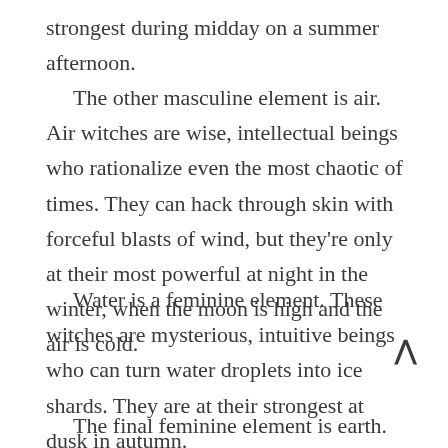strongest during midday on a summer afternoon.
The other masculine element is air. Air witches are wise, intellectual beings who rationalize even the most chaotic of times. They can hack through skin with forceful blasts of wind, but they're only at their most powerful at night in the winter, when the moon is high and the air is cold.
Water is a feminine element. These witches are mysterious, intuitive beings who can turn water droplets into ice shards. They are at their strongest at dusk in autumn.
The final feminine element is earth. Users desire